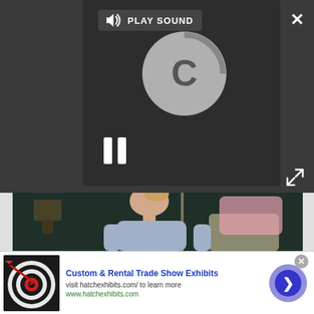[Figure (screenshot): Video player interface with dark background, 'PLAY SOUND' button with speaker icon, circular loading spinner with letter C, pause button (two vertical bars), close X button top-right, expand icon bottom-right]
[Figure (photo): Video still frame showing a young woman with blonde hair in a bun wearing a light blue sweater, seated in a floral chair with a pink blanket, in a dimly lit room with a lamp in background]
[Figure (screenshot): Advertisement banner for 'Custom & Rental Trade Show Exhibits' with a dartboard thumbnail image, text 'visit hatchexhibits.com/ to learn more', URL 'www.hatchexhibits.com', and a blue circular arrow button on the right]